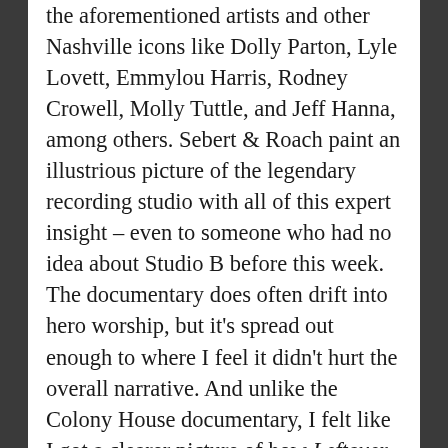the aforementioned artists and other Nashville icons like Dolly Parton, Lyle Lovett, Emmylou Harris, Rodney Crowell, Molly Tuttle, and Jeff Hanna, among others. Sebert & Roach paint an illustrious picture of the legendary recording studio with all of this expert insight – even to someone who had no idea about Studio B before this week. The documentary does often drift into hero worship, but it's spread out enough to where I feel it didn't hurt the overall narrative. And unlike the Colony House documentary, I felt like I got a clearer picture of how Leftover Feelings came to be. We sit in on recording session after recording session of the album, with various members of The Jerry Douglas Band explaining every step of the recording sessions – all with great audio mixing to